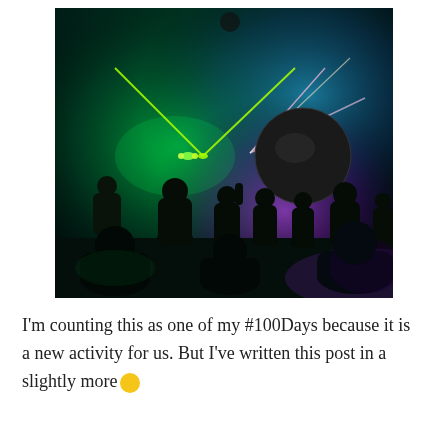[Figure (photo): Concert or nightclub scene with silhouettes of people dancing/standing, green and purple laser lights crossing the ceiling, a large dark circular disc/mirror ball prop on the right side, colorful stage lighting in the background creating a dramatic atmosphere.]
I'm counting this as one of my #100Days because it is a new activity for us. But I've written this post in a slightly more